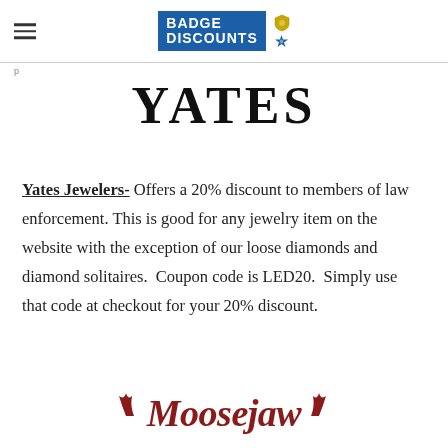Badge Discounts
YATES
Yates Jewelers- Offers a 20% discount to members of law enforcement. This is good for any jewelry item on the website with the exception of our loose diamonds and diamond solitaires. Coupon code is LED20. Simply use that code at checkout for your 20% discount.
[Figure (logo): Moosejaw logo in dark red italic serif font with antler decoration]